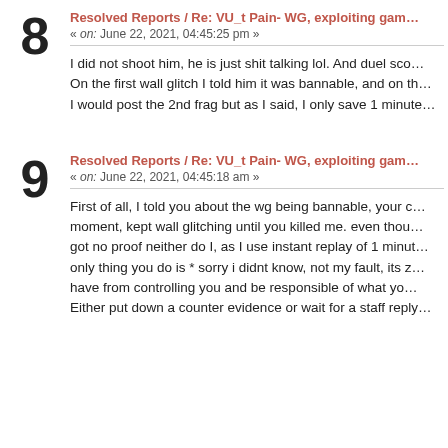8
Resolved Reports / Re: VU_t Pain- WG, exploiting gam...
« on: June 22, 2021, 04:45:25 pm »
I did not shoot him, he is just shit talking lol. And duel sco... On the first wall glitch I told him it was bannable, and on th... I would post the 2nd frag but as I said, I only save 1 minute...
9
Resolved Reports / Re: VU_t Pain- WG, exploiting gam...
« on: June 22, 2021, 04:45:18 am »
First of all, I told you about the wg being bannable, your c... moment, kept wall glitching until you killed me. even thou... got no proof neither do I, as I use instant replay of 1 minut... only thing you do is * sorry i didnt know, not my fault, its z... have from controlling you and be responsible of what yo... Either put down a counter evidence or wait for a staff reply...